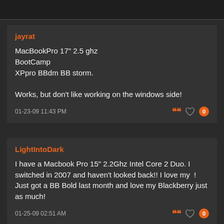jayrat
MacBookPro 17" 2.5 ghz BootCamp XPpro BBdm BB storm.

Works, but don't like working on the windows side!
01-23-09 11:43 PM
LightIntoDark
I have a Macbook Pro 15" 2.2Ghz Intel Core 2 Duo. I switched in 2007 and haven't looked back!! I love my ! Just got a BB Bold last month and love my Blackberry just as much!
01-25-09 02:51 AM